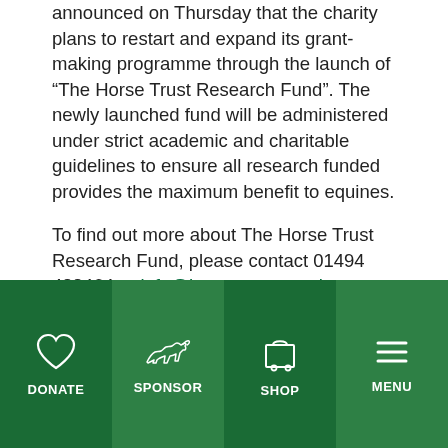announced on Thursday that the charity plans to restart and expand its grant-making programme through the launch of “The Horse Trust Research Fund”. The newly launched fund will be administered under strict academic and charitable guidelines to ensure all research funded provides the maximum benefit to equines.
To find out more about The Horse Trust Research Fund, please contact 01494 488464 or info@horsetrust.org.uk.
The Horse Trust also plans to develop new training tools to improve equine welfare and knowledge among people at all levels within the equine
DONATE | SPONSOR | SHOP | MENU